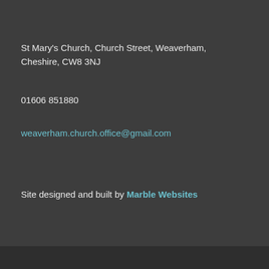St Mary's Church, Church Street, Weaverham, Cheshire, CW8 3NJ
01606 851880
weaverham.church.office@gmail.com
Site designed and built by Marble Websites